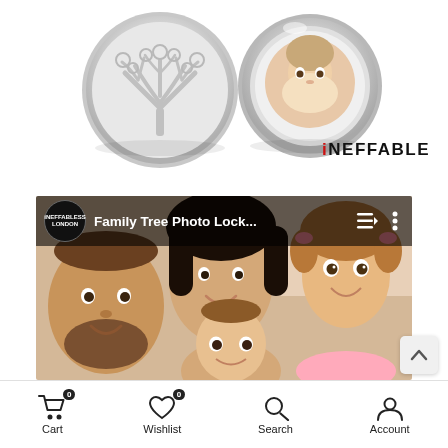[Figure (photo): Silver family tree locket/pendant product photo showing two circular silver pieces - one with a tree of life cutout design and one with a photo frame showing a child's face, displayed on white background]
[Figure (logo): iNEFFABLE brand logo text in bold black with red dot on the i]
[Figure (screenshot): Video thumbnail screenshot showing a YouTube-style video player with channel icon for INEFFABLESS LONDON, video title 'Family Tree Photo Lock...' with playlist and options icons, overlaid on a photo of a happy family of four (parents and two young children) lying on the floor looking up at camera]
[Figure (other): Scroll-to-top button (chevron up arrow) on light grey rounded rectangle background]
Cart 0   Wishlist 0   Search   Account